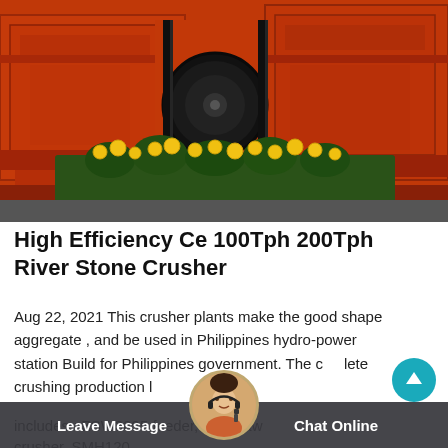[Figure (photo): Photograph of large orange industrial stone crusher machines with black pulley/belt mechanism, with yellow flowers (marigolds) in the foreground against a gray ground.]
High Efficiency Ce 100Tph 200Tph River Stone Crusher
Aug 22, 2021 This crusher plants make the good shape aggregate , and be used in Philippines hydro-power station Build for Philippines government. The complete crushing production line includes : ZSW3895 feeder, 0 jaw crusher, SMH120...